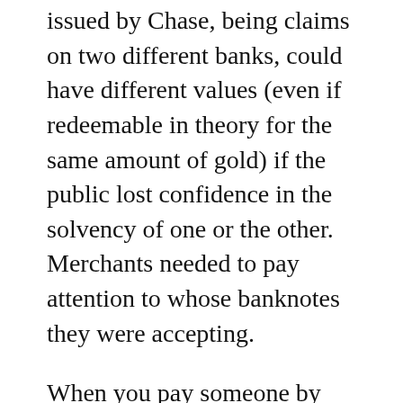issued by Chase, being claims on two different banks, could have different values (even if redeemable in theory for the same amount of gold) if the public lost confidence in the solvency of one or the other. Merchants needed to pay attention to whose banknotes they were accepting.
When you pay someone by transferring some of your bank balance to the payee's bank account (e.g. by writing a check), your bank and the receiving bank must both participate in the same clearinghouse (or have an account with a correspondent bank that participates) enabling their obligations with each other to be settled in central bank money.[8]  This role is now generally performed by each country's central